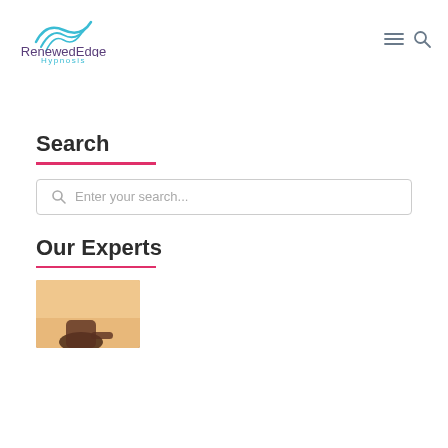[Figure (logo): RenewedEdge Hypnosis logo with teal wave graphic above purple text 'RenewedEdge' and teal 'Hypnosis']
[Figure (other): Hamburger menu icon and search magnifying glass icon in top right navigation]
Search
[Figure (other): Search input box with magnifying glass icon and placeholder text 'Enter your search...']
Our Experts
[Figure (photo): Partial photo showing a hand pointing or touching, warm sunset tones in background]